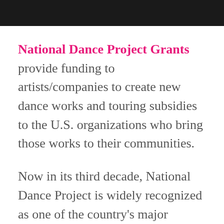National Dance Project Grants provide funding to artists/companies to create new dance works and touring subsidies to the U.S. organizations who bring those works to their communities.
Now in its third decade, National Dance Project is widely recognized as one of the country's major sources of funding and field building for dance. NDP has invested more than $38.5 million in funding